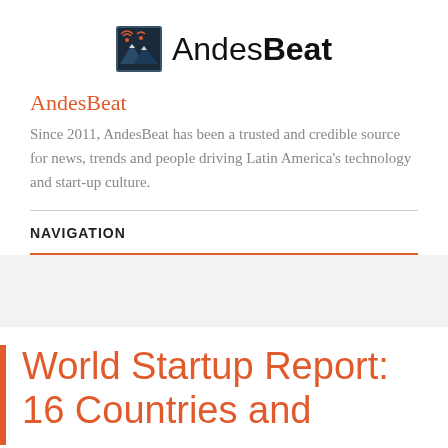[Figure (logo): AndesBeat logo with mountain/antenna icon and wordmark]
AndesBeat
Since 2011, AndesBeat has been a trusted and credible source for news, trends and people driving Latin America's technology and start-up culture.
NAVIGATION
World Startup Report: 16 Countries and